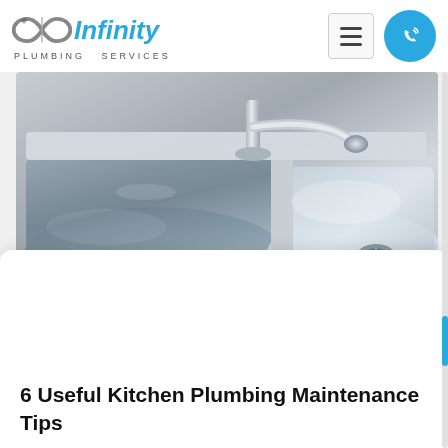Infinity Plumbing Services
[Figure (photo): Close-up photo of a stainless steel kitchen sink with a chrome faucet, showing two sink basins and a drain strainer, with soft light reflections on the metal surface.]
6 Useful Kitchen Plumbing Maintenance Tips